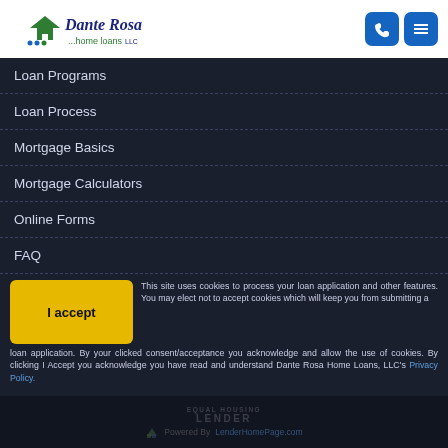[Figure (logo): Dante Rosa Home Loans LLC logo with house icon in green and dark blue script text]
Loan Programs
Loan Process
Mortgage Basics
Mortgage Calculators
Online Forms
FAQ
This site uses cookies to process your loan application and other features. You may elect not to accept cookies which will keep you from submitting a loan application. By your clicked consent/acceptance you acknowledge and allow the use of cookies. By clicking I Accept you acknowledge you have read and understand Dante Rosa Home Loans, LLC's Privacy Policy.
EQUAL HOUSING LENDER | Powered By LenderHomePage.com